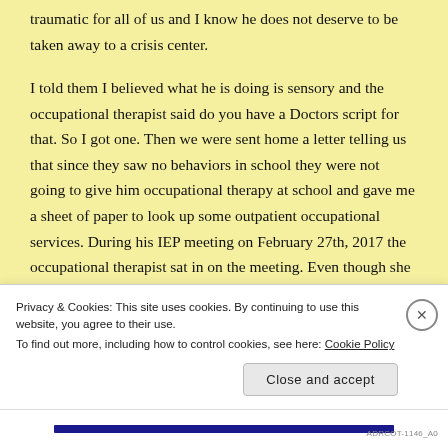traumatic for all of us and I know he does not deserve to be taken away to a crisis center.
I told them I believed what he is doing is sensory and the occupational therapist said do you have a Doctors script for that. So I got one. Then we were sent home a letter telling us that since they saw no behaviors in school they were not going to give him occupational therapy at school and gave me a sheet of paper to look up some outpatient occupational services. During his IEP meeting on February 27th, 2017 the occupational therapist sat in on the meeting. Even though she had
Privacy & Cookies: This site uses cookies. By continuing to use this website, you agree to their use.
To find out more, including how to control cookies, see here: Cookie Policy